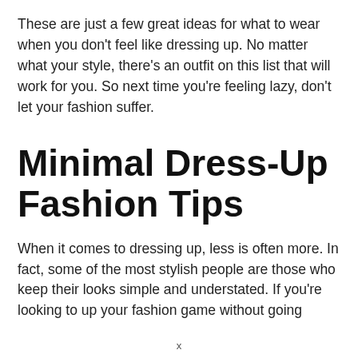These are just a few great ideas for what to wear when you don't feel like dressing up. No matter what your style, there's an outfit on this list that will work for you. So next time you're feeling lazy, don't let your fashion suffer.
Minimal Dress-Up Fashion Tips
When it comes to dressing up, less is often more. In fact, some of the most stylish people are those who keep their looks simple and understated. If you're looking to up your fashion game without going